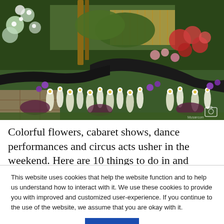[Figure (photo): A lush garden with colorful flowers including white daffodils, purple blooms, red flowers, and green foliage surrounding a dark curved path or water feature, with a wooden pergola structure and fencing in the background.]
Colorful flowers, cabaret shows, dance performances and circus acts usher in the weekend. Here are 10 things to do in and
This website uses cookies that help the website function and to help us understand how to interact with it. We use these cookies to provide you with improved and customized user-experience. If you continue to the use of the website, we assume that you are okay with it.
Got It